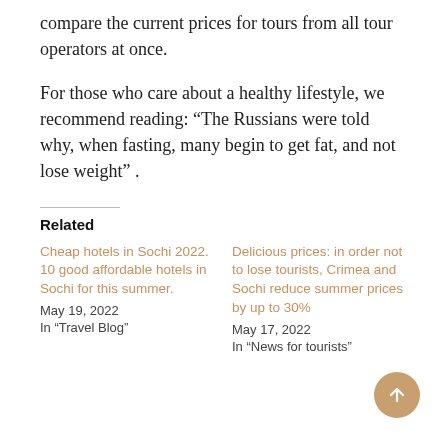compare the current prices for tours from all tour operators at once.
For those who care about a healthy lifestyle, we recommend reading: “The Russians were told why, when fasting, many begin to get fat, and not lose weight” .
Related
Cheap hotels in Sochi 2022. 10 good affordable hotels in Sochi for this summer.
May 19, 2022
In “Travel Blog”
Delicious prices: in order not to lose tourists, Crimea and Sochi reduce summer prices by up to 30%
May 17, 2022
In “News for tourists”